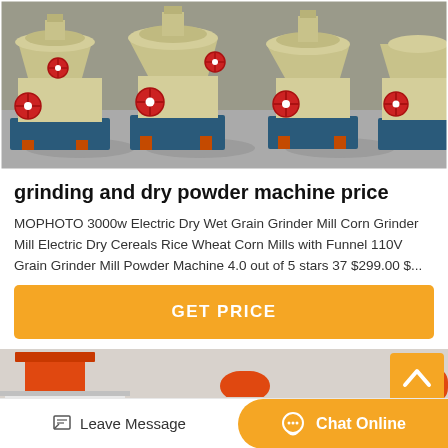[Figure (photo): Row of large industrial grinding/milling machines in cream/yellow color with red circular handles, mounted on blue steel frames, lined up in a factory yard on a concrete floor.]
grinding and dry powder machine price
MOPHOTO 3000w Electric Dry Wet Grain Grinder Mill Corn Grinder Mill Electric Dry Cereals Rice Wheat Corn Mills with Funnel 110V Grain Grinder Mill Powder Machine 4.0 out of 5 stars 37 $299.00 $...
[Figure (other): GET PRICE button in orange/yellow]
[Figure (photo): Partial view of red/orange industrial grinding machines with hoppers, shown at bottom of page]
[Figure (other): Orange scroll-to-top button with upward chevron arrow]
Leave Message
Chat Online